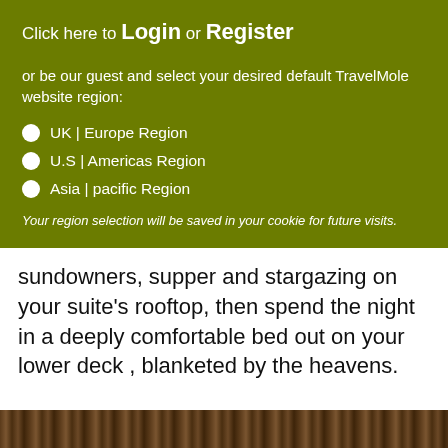Click here to Login or Register
or be our guest and select your desired default TravelMole website region:
UK | Europe Region
U.S | Americas Region
Asia | pacific Region
Your region selection will be saved in your cookie for future visits.
sundowners, supper and stargazing on your suite's rooftop, then spend the night in a deeply comfortable bed out on your lower deck , blanketed by the heavens.
[Figure (photo): Wooden textured surface at the bottom of the page]